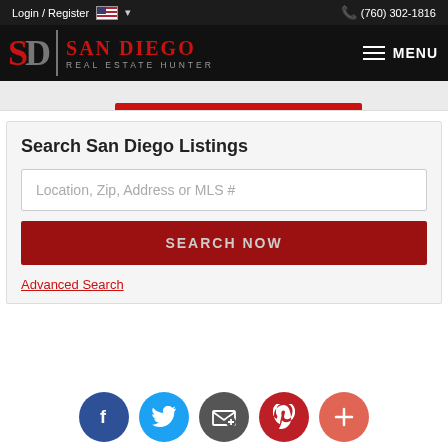Login / Register  (760) 302-1816
[Figure (logo): San Diego Real Estate Hunter logo with SD monogram in red and gray, vertical divider, red 'SAN DIEGO' text and gray 'REAL ESTATE HUNTER' tagline on black background]
Search San Diego Listings
Location, Zip, Address or MLS #
SEARCH NOW
Advanced Search
[Figure (infographic): Social media icon row: Facebook (blue), Twitter (light blue), Email (dark gray), Pinterest (red), plus/more (orange-red)]